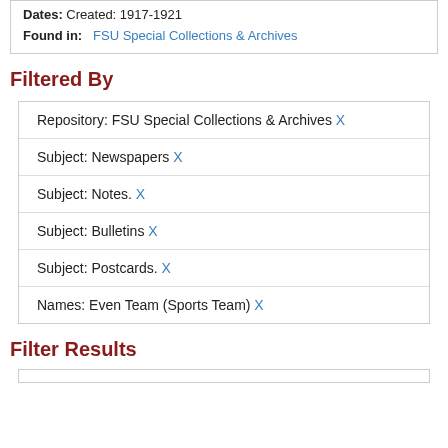Dates: Created: 1917-1921
Found in: FSU Special Collections & Archives
Filtered By
Repository: FSU Special Collections & Archives X
Subject: Newspapers X
Subject: Notes. X
Subject: Bulletins X
Subject: Postcards. X
Names: Even Team (Sports Team) X
Filter Results